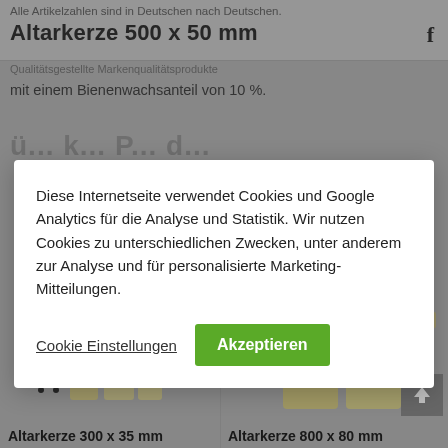Altarkerze 500 x 50 mm
mit einem Bienenwachsanteil von 10 %.
ü... k... P... d...
Diese Internetseite verwendet Cookies und Google Analytics für die Analyse und Statistik. Wir nutzen Cookies zu unterschiedlichen Zwecken, unter anderem zur Analyse und für personalisierte Marketing-Mitteilungen.
Cookie Einstellungen
Akzeptieren
[Figure (photo): Product photo of altar candles (Altarkerze 300 x 35 mm) - cream/ivory colored candles]
Altarkerze 300 x 35 mm
[Figure (photo): Product photo of altar candles (Altarkerze 800 x 80 mm) - cream/ivory colored large candles]
Altarkerze 800 x 80 mm